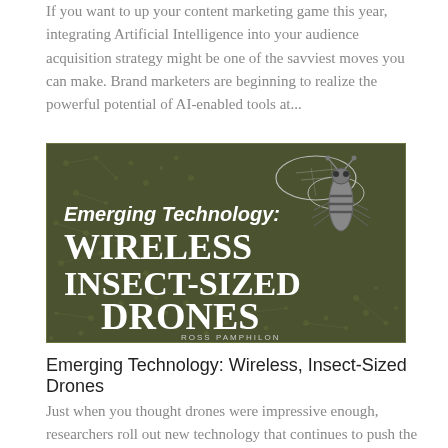If you want to up your content marketing game this year, integrating Artificial Intelligence into your audience acquisition strategy might be one of the savviest moves you can make. Brand marketers are beginning to realize the powerful potential of AI-enabled tools at...
[Figure (illustration): Article banner image with dark olive/green circuit-board background, a large illustrated bee/insect in the upper right, and bold white text reading 'Emerging Technology: WIRELESS INSECT-SIZED DRONES' with author name 'ROSS PAMPHILON' below.]
Emerging Technology: Wireless, Insect-Sized Drones
Just when you thought drones were impressive enough, researchers roll out new technology that continues to push the envelope on what